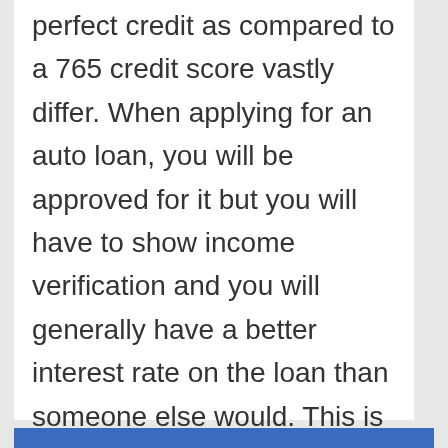perfect credit as compared to a 765 credit score vastly differ. When applying for an auto loan, you will be approved for it but you will have to show income verification and you will generally have a better interest rate on the loan than someone else would. This is a great way to find out how much you can qualify for based off your income limits. Find the lowest 765 credit score auto loan rate.